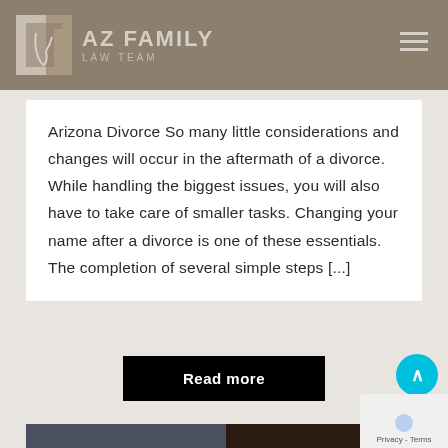AZ FAMILY LAW TEAM
Arizona Divorce So many little considerations and changes will occur in the aftermath of a divorce. While handling the biggest issues, you will also have to take care of smaller tasks. Changing your name after a divorce is one of these essentials. The completion of several simple steps [...]
Read more
[Figure (photo): Bottom portion of a photo showing books and what appears to be a gavel or legal items on a dark surface]